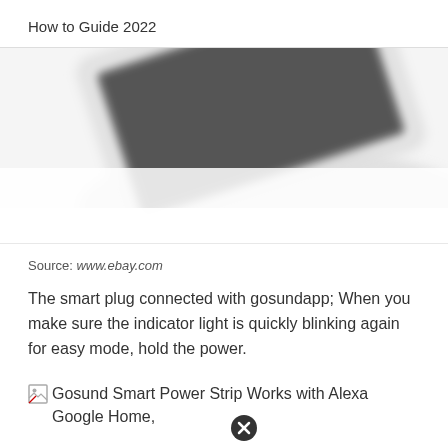How to Guide 2022
[Figure (photo): Blurred/partially cropped image of a smart plug or device, white and dark gray, tilted angle, blurry close-up]
Source: www.ebay.com
The smart plug connected with gosundapp; When you make sure the indicator light is quickly blinking again for easy mode, hold the power.
[Figure (photo): Broken image icon followed by text: Gosund Smart Power Strip Works with Alexa Google Home, with a close/dismiss button (X circle) overlaid]